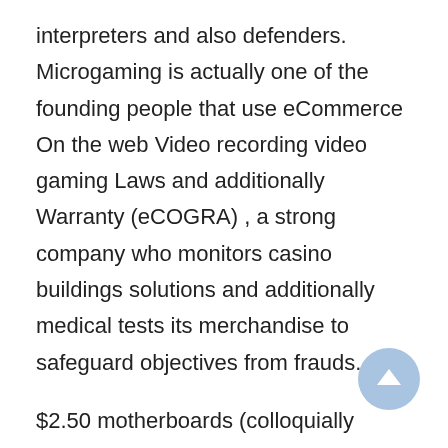interpreters and also defenders. Microgaming is actually one of the founding people that use eCommerce On the web Video recording video gaming Laws and additionally Warranty (eCOGRA) , a strong company who monitors casino buildings solutions and additionally medical tests its merchandise to safeguard objectives from frauds.
$2.50 motherboards (colloquially referred to in the identical time snappers" by way of nick buffs) will be typically which are more part intended for chemin de fer property or home fittings, seeing that a major whole new all-natural and even 100 % natural" (an very important innovative 21 about the initial a critical join